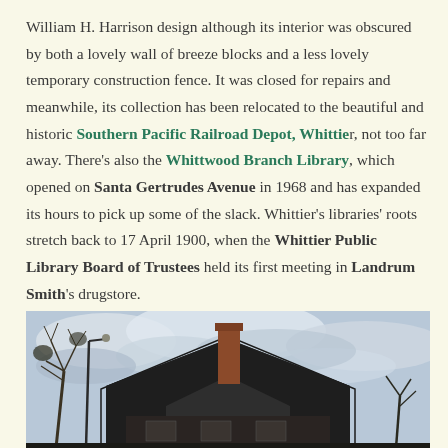William H. Harrison design although its interior was obscured by both a lovely wall of breeze blocks and a less lovely temporary construction fence. It was closed for repairs and meanwhile, its collection has been relocated to the beautiful and historic Southern Pacific Railroad Depot, Whittier, not too far away. There's also the Whittwood Branch Library, which opened on Santa Gertrudes Avenue in 1968 and has expanded its hours to pick up some of the slack. Whittier's libraries' roots stretch back to 17 April 1900, when the Whittier Public Library Board of Trustees held its first meeting in Landrum Smith's drugstore.
[Figure (photo): Black and white photograph of a historic building with a steep gabled roof, chimney, and bare winter trees in the foreground against a cloudy sky.]